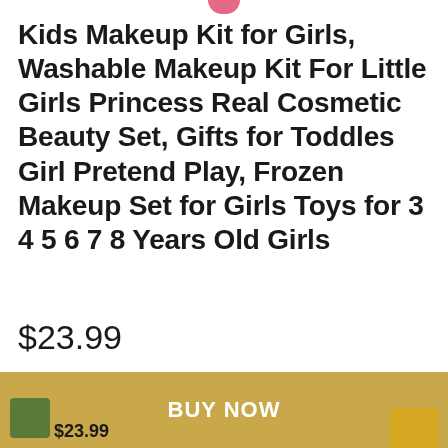Kids Makeup Kit for Girls, Washable Makeup Kit For Little Girls Princess Real Cosmetic Beauty Set, Gifts for Toddles Girl Pretend Play, Frozen Makeup Set for Girls Toys for 3 4 5 6 7 8 Years Old Girls
$23.99
[Figure (screenshot): Buy Now button bar with golden/olive background, BUY NOW text in white, and a product price $23.99 at the bottom left with a green icon]